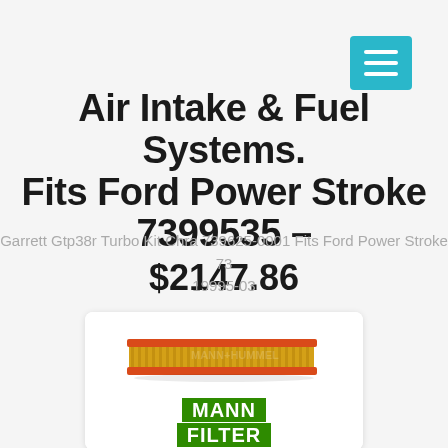menu button
Air Intake & Fuel Systems.
Fits Ford Power Stroke 7399535 – $2147.86
Garrett Gtp38r Turbo Kit Chra 739625-0001 Fits Ford Power Stroke 73 19995-03
[Figure (photo): Air filter product photo with MANN FILTER logo at bottom]